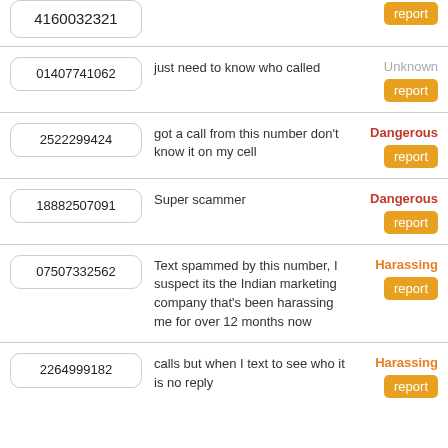4160032321 | (truncated) | report
01407741062 | just need to know who called | Unknown | report
2522299424 | got a call from this number don't know it on my cell | Dangerous | report
18882507091 | Super scammer | Dangerous | report
07507332562 | Text spammed by this number, I suspect its the Indian marketing company that's been harassing me for over 12 months now | Harassing | report
2264999182 | calls but when I text to see who it is no reply | Harassing | report